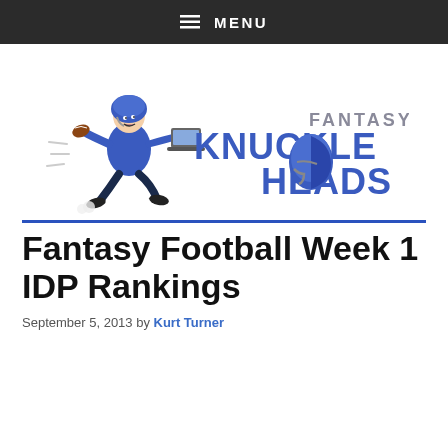MENU
[Figure (logo): Fantasy Knuckleheads logo with cartoon football player running with a laptop and stylized text 'KNUCKLEHEADS FANTASY']
Fantasy Football Week 1 IDP Rankings
September 5, 2013 by Kurt Turner